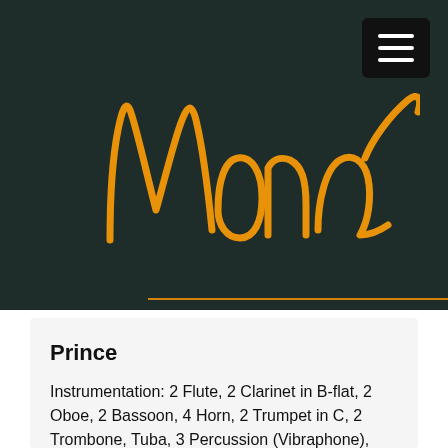[Figure (logo): Handwritten-style orange cursive logo reading 'Mona' on a dark teal/green background, with a hamburger menu icon in the top-right corner]
Prince
Instrumentation: 2 Flute, 2 Clarinet in B-flat, 2 Oboe, 2 Bassoon, 4 Horn, 2 Trumpet in C, 2 Trombone, Tuba, 3 Percussion (Vibraphone),